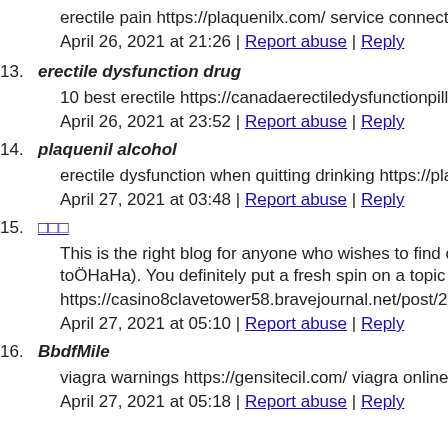erectile pain https://plaquenilx.com/ service connected erectile
April 26, 2021 at 21:26 | Report abuse | Reply
13. erectile dysfunction drug
10 best erectile https://canadaerectiledysfunctionpills.com/ ere
April 26, 2021 at 23:52 | Report abuse | Reply
14. plaquenil alcohol
erectile dysfunction when quitting drinking https://plaquenilx.c
April 27, 2021 at 03:48 | Report abuse | Reply
15. □□□
This is the right blog for anyone who wishes to find out about toOHaHa). You definitely put a fresh spin on a topic which has
https://casino8clavetower58.bravejournal.net/post/2021/04/13/
April 27, 2021 at 05:10 | Report abuse | Reply
16. BbdfMile
viagra warnings https://gensitecil.com/ viagra online usa
April 27, 2021 at 05:18 | Report abuse | Reply